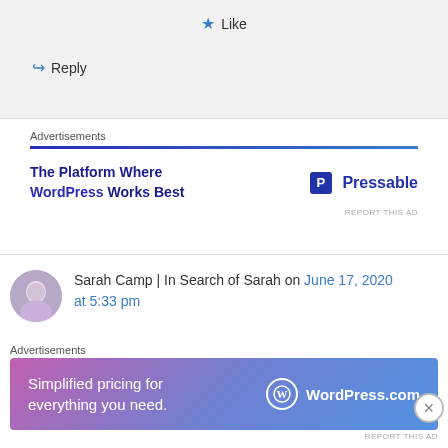★ Like
↪ Reply
Advertisements
[Figure (screenshot): Pressable ad banner: 'The Platform Where WordPress Works Best' with Pressable logo]
Sarah Camp | In Search of Sarah on June 17, 2020 at 5:33 pm
Great tips! I am not one for road trips (I get car sick) but it looks like I'll have to find a way around that for this year and explore some places around me within driving distance! I work
Advertisements
[Figure (screenshot): WordPress.com ad banner: 'Simplified pricing for everything you need.' with WordPress.com logo]